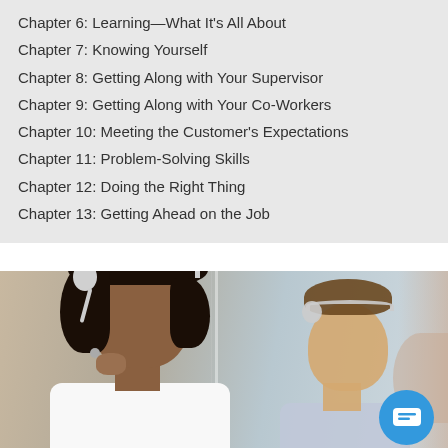Chapter 6: Learning—What It's All About
Chapter 7: Knowing Yourself
Chapter 8: Getting Along with Your Supervisor
Chapter 9: Getting Along with Your Co-Workers
Chapter 10: Meeting the Customer's Expectations
Chapter 11: Problem-Solving Skills
Chapter 12: Doing the Right Thing
Chapter 13: Getting Ahead on the Job
[Figure (photo): A woman with curly hair wearing a headset working at a call center, with a male colleague also wearing a headset in the background. A blue chat/message button is visible in the lower right corner.]